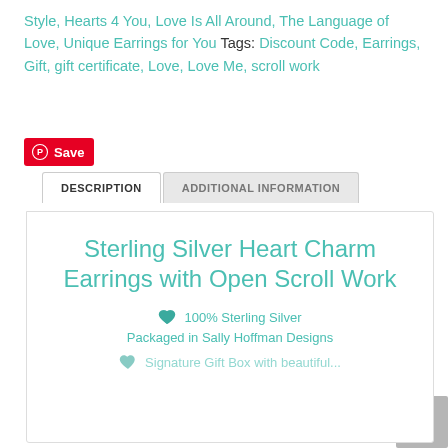Style, Hearts 4 You, Love Is All Around, The Language of Love, Unique Earrings for You Tags: Discount Code, Earrings, Gift, gift certificate, Love, Love Me, scroll work
[Figure (other): Pinterest Save button in red]
DESCRIPTION
ADDITIONAL INFORMATION
Sterling Silver Heart Charm Earrings with Open Scroll Work
♥ 100% Sterling Silver
Packaged in Sally Hoffman Designs
♥ Signature Gift Box with beautiful...